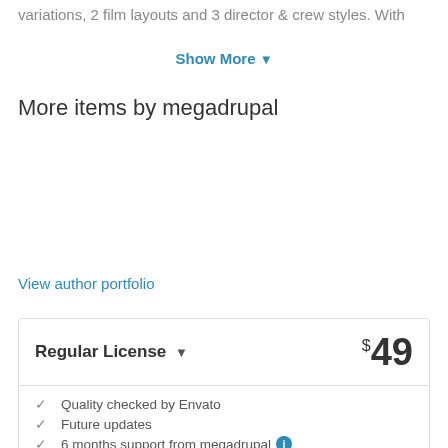variations, 2 film layouts and 3 director & crew styles. With
Show More ▾
More items by megadrupal
View author portfolio
Regular License ▾  $49
Quality checked by Envato
Future updates
6 months support from megadrupal ℹ